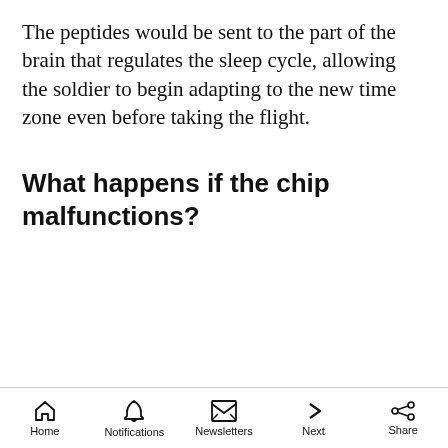The peptides would be sent to the part of the brain that regulates the sleep cycle, allowing the soldier to begin adapting to the new time zone even before taking the flight.
What happens if the chip malfunctions?
[Figure (screenshot): Advertisement banner showing 'Photo Quality Guaranteed - CVS Photo' with a play icon on the left and a blue diamond navigation icon on the right]
Home  Notifications  Newsletters  Next  Share